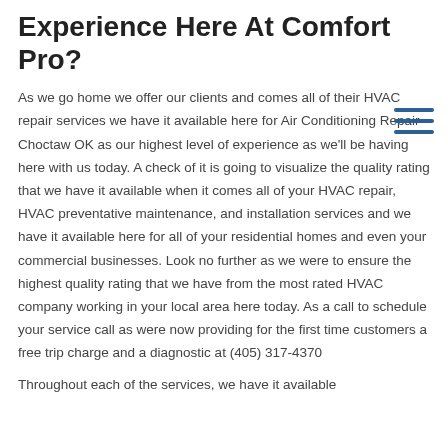Experience Here At Comfort Pro?
As we go home we offer our clients and comes all of their HVAC repair services we have it available here for Air Conditioning Repair Choctaw OK as our highest level of experience as we'll be having here with us today. A check of it is going to visualize the quality rating that we have it available when it comes all of your HVAC repair, HVAC preventative maintenance, and installation services and we have it available here for all of your residential homes and even your commercial businesses. Look no further as we were to ensure the highest quality rating that we have from the most rated HVAC company working in your local area here today. As a call to schedule your service call as were now providing for the first time customers a free trip charge and a diagnostic at (405) 317-4370
Throughout each of the services, we have it available